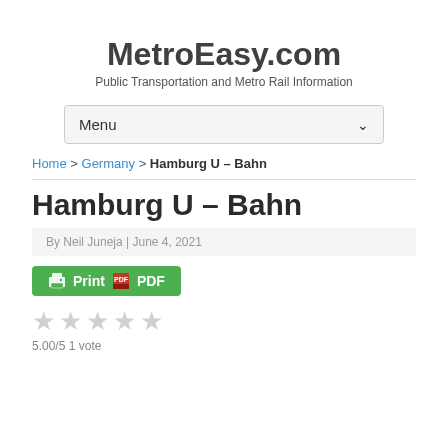MetroEasy.com
Public Transportation and Metro Rail Information
Menu
Home > Germany > Hamburg U – Bahn
Hamburg U – Bahn
By Neil Juneja | June 4, 2021
[Figure (other): Print PDF button in green]
5.00/5 1 vote